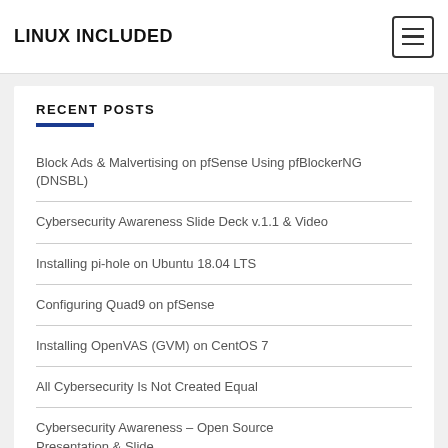LINUX INCLUDED
RECENT POSTS
Block Ads & Malvertising on pfSense Using pfBlockerNG (DNSBL)
Cybersecurity Awareness Slide Deck v.1.1 & Video
Installing pi-hole on Ubuntu 18.04 LTS
Configuring Quad9 on pfSense
Installing OpenVAS (GVM) on CentOS 7
All Cybersecurity Is Not Created Equal
Cybersecurity Awareness – Open Source Presentation & Slide...